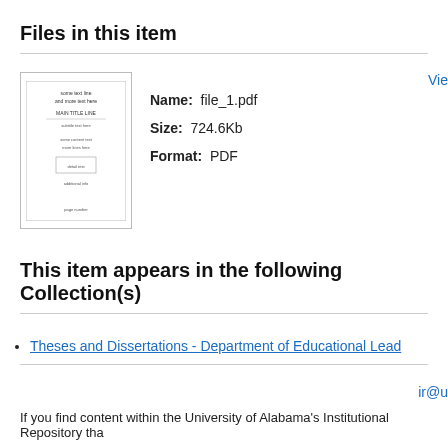Files in this item
[Figure (screenshot): Thumbnail preview of file_1.pdf showing a document cover page with text]
Name: file_1.pdf
Size: 724.6Kb
Format: PDF
Vie
This item appears in the following Collection(s)
Theses and Dissertations - Department of Educational Lead
ir@u
If you find content within the University of Alabama's Institutional Repository tha